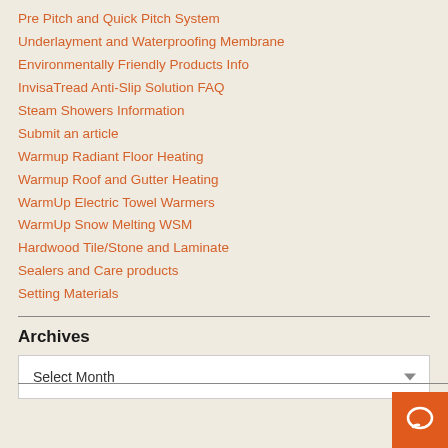Pre Pitch and Quick Pitch System
Underlayment and Waterproofing Membrane
Environmentally Friendly Products Info
InvisaTread Anti-Slip Solution FAQ
Steam Showers Information
Submit an article
Warmup Radiant Floor Heating
Warmup Roof and Gutter Heating
WarmUp Electric Towel Warmers
WarmUp Snow Melting WSM
Hardwood Tile/Stone and Laminate
Sealers and Care products
Setting Materials
Archives